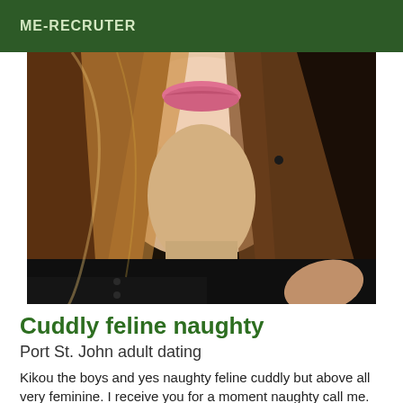ME-RECRUTER
[Figure (photo): Close-up photo of a woman with long wavy brown/blonde hair, wearing a dark outfit, making a kissing expression toward the camera.]
Cuddly feline naughty
Port St. John adult dating
Kikou the boys and yes naughty feline cuddly but above all very feminine. I receive you for a moment naughty call me.